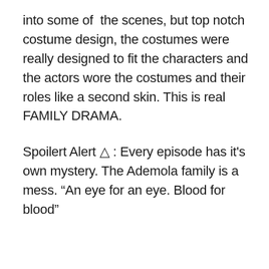into some of the scenes, but top notch costume design, the costumes were really designed to fit the characters and the actors wore the costumes and their roles like a second skin. This is real FAMILY DRAMA.
Spoilert Alert ⚠ : Every episode has it's own mystery. The Ademola family is a mess. “An eye for an eye. Blood for blood”